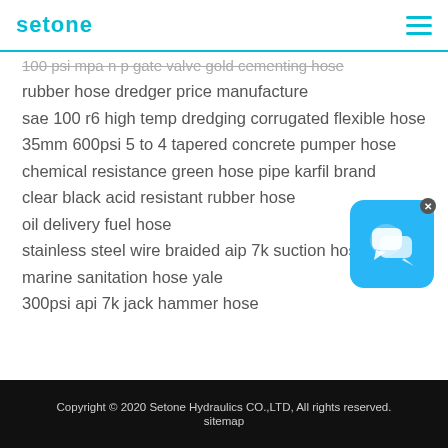setone
100 psi mpa n p gate valve gold cementing hose
rubber hose dredger price manufacture
sae 100 r6 high temp dredging corrugated flexible hose
35mm 600psi 5 to 4 tapered concrete pumper hose
chemical resistance green hose pipe karfil brand
clear black acid resistant rubber hose
oil delivery fuel hose
stainless steel wire braided aip 7k suction hose
marine sanitation hose yale
300psi api 7k jack hammer hose
[Figure (illustration): Chat widget icon — blue rounded square with two overlapping speech bubble icons in white, with a small close (x) button in the top-right corner]
Copyright © 2020 Setone Hydraulics CO.,LTD, All rights reserved.
sitemap